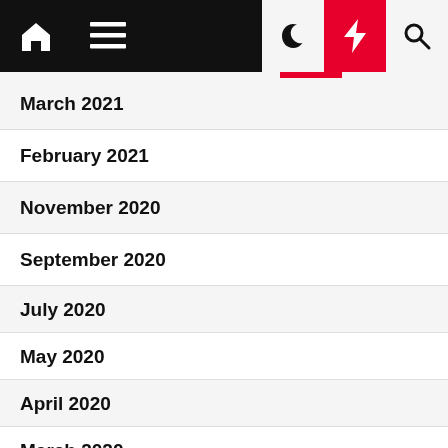Navigation bar with home, menu, moon, bolt, and search icons
March 2021
February 2021
November 2020
September 2020
July 2020
May 2020
April 2020
March 2020
November 2019